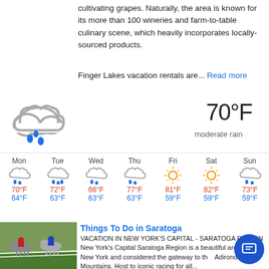cultivating grapes. Naturally, the area is known for its more than 100 wineries and farm-to-table culinary scene, which heavily incorporates locally-sourced products.
Finger Lakes vacation rentals are... Read more
[Figure (infographic): Weather widget showing 70°F moderate rain with cloud and rain icon, and a 7-day forecast for Mon through Sun with temperatures and weather icons.]
Things To Do in Saratoga
[Figure (photo): Horse racing photo showing jockeys racing on a track with green grass.]
VACATION IN NEW YORK'S CAPITAL - SARATOGA REGION New York's Capital Saratoga Region is a beautiful area of Upstate New York and considered the gateway to the Adirondack Mountains. Host to iconic racing for all...